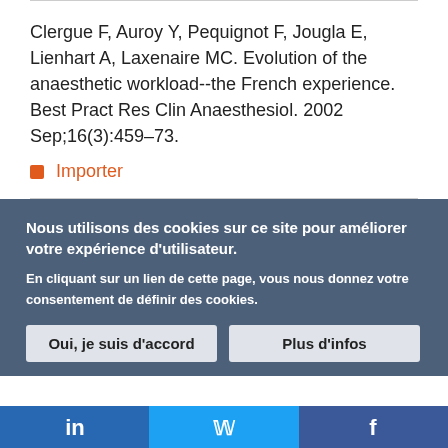Clergue F, Auroy Y, Pequignot F, Jougla E, Lienhart A, Laxenaire MC. Evolution of the anaesthetic workload--the French experience. Best Pract Res Clin Anaesthesiol. 2002 Sep;16(3):459–73.
Importer
Nous utilisons des cookies sur ce site pour améliorer votre expérience d'utilisateur.
En cliquant sur un lien de cette page, vous nous donnez votre consentement de définir des cookies.
Oui, je suis d'accord   Plus d'infos